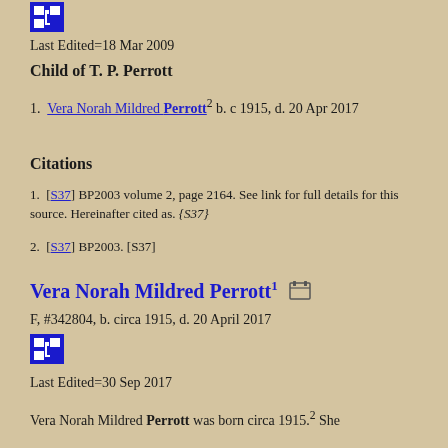[Figure (logo): Blue square icon with family tree-like symbol]
Last Edited=18 Mar 2009
Child of T. P. Perrott
Vera Norah Mildred Perrott2 b. c 1915, d. 20 Apr 2017
Citations
[S37] BP2003 volume 2, page 2164. See link for full details for this source. Hereinafter cited as. {S37}
[S37] BP2003. [S37]
Vera Norah Mildred Perrott1
F, #342804, b. circa 1915, d. 20 April 2017
[Figure (logo): Blue square icon with family tree-like symbol]
Last Edited=30 Sep 2017
Vera Norah Mildred Perrott was born circa 1915.2 She